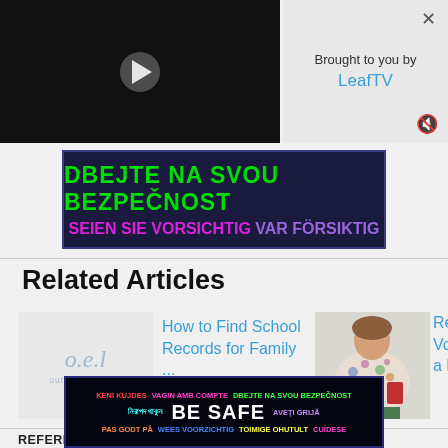[Figure (screenshot): Video player with play button, dark background]
Brought to you by LeafTV
[Figure (infographic): Safety ad banner: DBEJTE NA SVOU BEZPECNOST / SEIEN SIE VORSICHTIG VAR FORSIKTIG]
Related Articles
[Figure (logo): o.e.l oureverydaylife logo]
How to Find School Records for Family ...
[Figure (photo): Woman in floral shirt holding red book]
Rea... Vol... a H...
REFERENCES   WRITER BIO   PHOTO CREDITS
[Figure (infographic): Bottom safety ad: KENI KUJDES, VAGIN AMB COMPTE, DBEJTE NA SVOU BEZPECNOST, BE SAFE, AVETI GRIJA, PAS GODT PA, WEES VOORZICHTIG, TOIMIGE OHUTULT, CUIDESE]